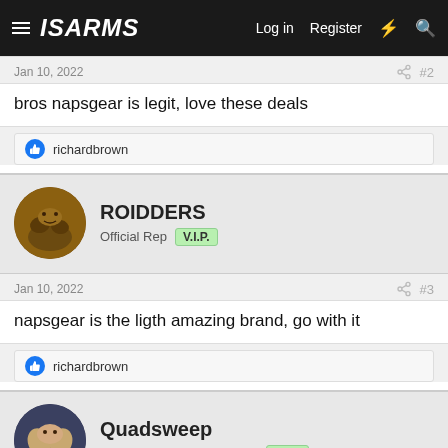ISARMS — Log in   Register
Jan 10, 2022   #2
bros napsgear is legit, love these deals
👍 richardbrown
ROIDDERS
Official Rep  V.I.P.
Jan 10, 2022   #3
napsgear is the ligth amazing brand, go with it
👍 richardbrown
Quadsweep
Top 5 Jr. USA Lt/hvy weight  V.I.P.